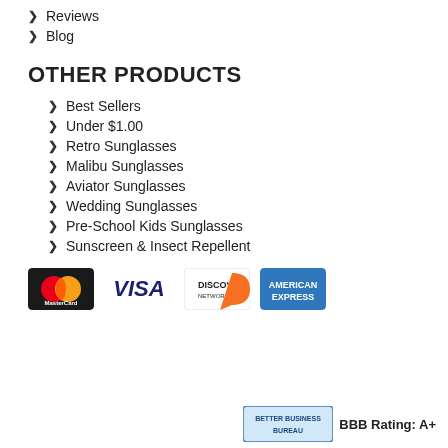Reviews
Blog
OTHER PRODUCTS
Best Sellers
Under $1.00
Retro Sunglasses
Malibu Sunglasses
Aviator Sunglasses
Wedding Sunglasses
Pre-School Kids Sunglasses
Sunscreen & Insect Repellent
[Figure (logo): Payment logos: MasterCard, Visa, Discover, American Express]
[Figure (logo): BBB Rating: A+]